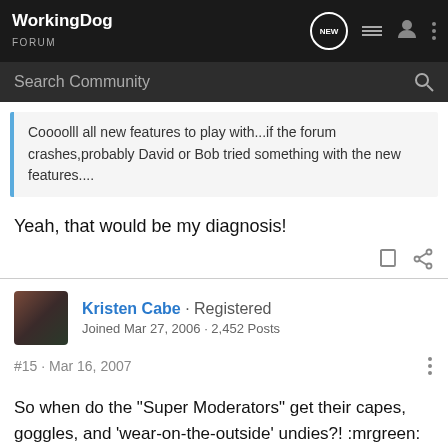WorkingDog FORUM
Search Community
Coooolll all new features to play with...if the forum crashes,probably David or Bob tried something with the new features....
Yeah, that would be my diagnosis!
Kristen Cabe · Registered
Joined Mar 27, 2006 · 2,452 Posts
#15 · Mar 16, 2007
So when do the "Super Moderators" get their capes, goggles, and 'wear-on-the-outside' undies?! :mrgreen: